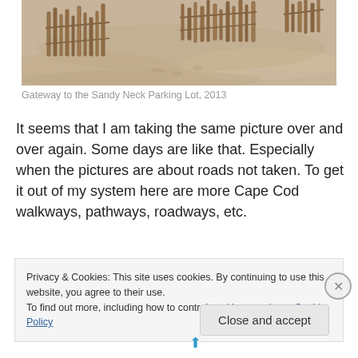[Figure (photo): Sepia-toned photograph of a wooden sand fence at Sandy Neck beach, with sand dunes in the background, 2013]
Gateway to the Sandy Neck Parking Lot, 2013
It seems that I am taking the same picture over and over again. Some days are like that. Especially when the pictures are about roads not taken. To get it out of my system here are more Cape Cod walkways, pathways, roadways, etc.
Privacy & Cookies: This site uses cookies. By continuing to use this website, you agree to their use.
To find out more, including how to control cookies, see here: Cookie Policy